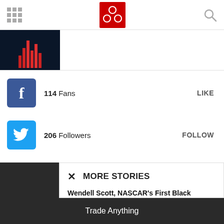[Figure (logo): CBC logo in red square with white circular design]
[Figure (photo): Dark tech/finance image with red bar chart elements]
114  Fans   LIKE
206  Followers   FOLLOW
MORE STORIES
Wendell Scott, NASCAR's First Black Driver's Story Shared As 3D AR NFT Collection In...
March 5, 2022
Trade Anything